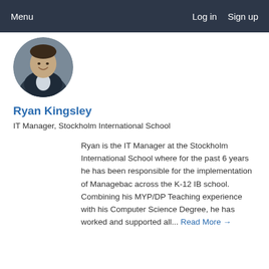Menu    Log in   Sign up
[Figure (photo): Circular profile photo of Ryan Kingsley, a man in a dark suit smiling]
Ryan Kingsley
IT Manager, Stockholm International School
Ryan is the IT Manager at the Stockholm International School where for the past 6 years he has been responsible for the implementation of Managebac across the K-12 IB school. Combining his MYP/DP Teaching experience with his Computer Science Degree, he has worked and supported all... Read More →